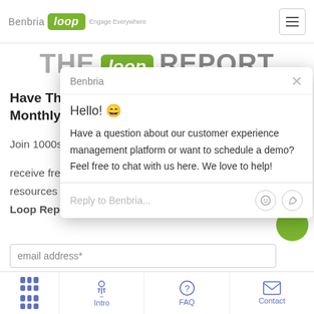[Figure (screenshot): Benbria Loop website header with logo and hamburger menu button]
THE loop REPORT
Have The Loop Report Delivered Monthly
Join 1000s of customers who receive free insights, tools, and resources delivered in your Loop Report each month.
[Figure (screenshot): Chat popup from Benbria with message: Hello! Have a question about our customer experience management platform or want to schedule a demo? Feel free to chat with us here. We love to help! Reply to Benbria input area.]
email address*
Intro  FAQ  Contact